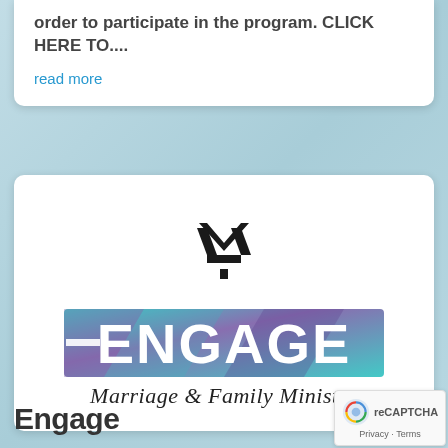order to participate in the program. CLICK HERE TO....
read more
[Figure (logo): Engage Marriage & Family Ministry logo with stylized M lettermark and colorful ENGAGE lettering with cursive subtitle]
Engage